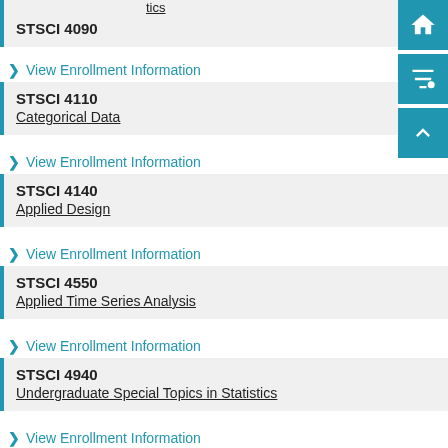STSCI 4090
> View Enrollment Information
STSCI 4110
Categorical Data
> View Enrollment Information
STSCI 4140
Applied Design
> View Enrollment Information
STSCI 4550
Applied Time Series Analysis
> View Enrollment Information
STSCI 4940
Undergraduate Special Topics in Statistics
> View Enrollment Information